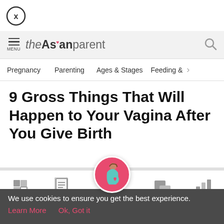[Figure (logo): Close (X) button circle icon in top left]
theAsianparent — site header with menu, logo, and search icon
Pregnancy | Parenting | Ages & Stages | Feeding &
9 Gross Things That Will Happen to Your Vagina After You Give Birth
[Figure (infographic): Bottom navigation bar with Tools, Articles, Home (pregnant woman icon), Feed, Poll icons]
We use cookies to ensure you get the best experience.
Learn More   Ok, Got it